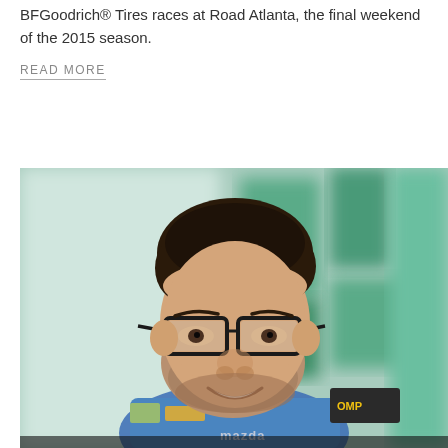BFGoodrich® Tires races at Road Atlanta, the final weekend of the 2015 season.
READ MORE
[Figure (photo): A young man wearing glasses and a Mazda racing suit with OMP branding, smiling, with a blurred green background suggesting a racing paddock environment.]